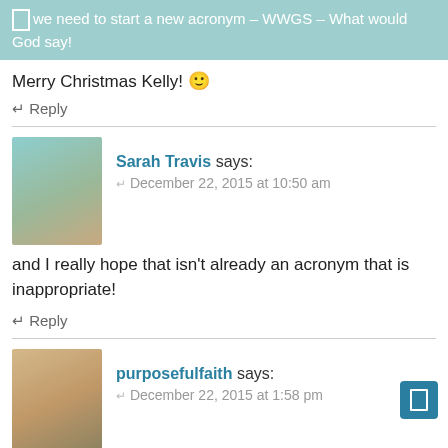we need to start a new acronym – WWGS – What would God say!
Merry Christmas Kelly! 🙂
↵ Reply
Sarah Travis says: December 22, 2015 at 10:50 am
[Figure (photo): Avatar photo of Sarah Travis, a young woman in a teal cardigan with a necklace]
and I really hope that isn't already an acronym that is inappropriate!
↵ Reply
[Figure (photo): Avatar photo of purposefulfaith, a blonde woman in a white top]
purposefulfaith says: December 22, 2015 at 1:58 pm
Let's make the shirts.